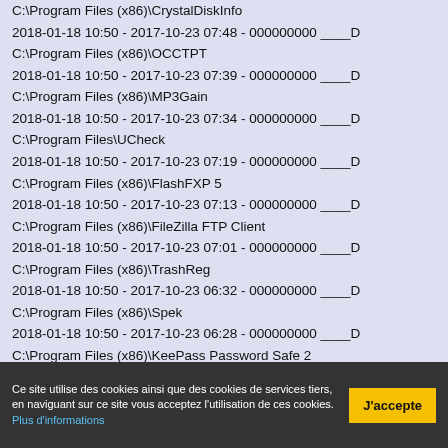C:\Program Files (x86)\CrystalDiskInfo
2018-01-18 10:50 - 2017-10-23 07:48 - 000000000 ____D
C:\Program Files (x86)\OCCTPT
2018-01-18 10:50 - 2017-10-23 07:39 - 000000000 ____D
C:\Program Files (x86)\MP3Gain
2018-01-18 10:50 - 2017-10-23 07:34 - 000000000 ____D
C:\Program Files\UCheck
2018-01-18 10:50 - 2017-10-23 07:19 - 000000000 ____D
C:\Program Files (x86)\FlashFXP 5
2018-01-18 10:50 - 2017-10-23 07:13 - 000000000 ____D
C:\Program Files (x86)\FileZilla FTP Client
2018-01-18 10:50 - 2017-10-23 07:01 - 000000000 ____D
C:\Program Files (x86)\TrashReg
2018-01-18 10:50 - 2017-10-23 06:32 - 000000000 ____D
C:\Program Files (x86)\Spek
2018-01-18 10:50 - 2017-10-23 06:28 - 000000000 ____D
C:\Program Files (x86)\KeePass Password Safe 2
2018-01-18 10:50 - 2017-10-23 06:26 - 000000000 ___RD
C:\Program Files (x86)\Skype
2018-01-18 10:50 - 2017-10-23 05:59 - 000000000 ____D
Ce site utilise des cookies ainsi que des cookies de services tiers, en naviguant sur ce site vous acceptez l'utilisation de ces cookies. Plus d'informations